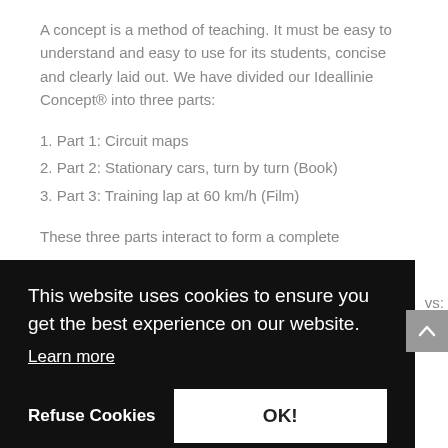A concept is a method of teaching. It must be easy to understand and easy to use for its students, concise and clearly laid out. We have divided our Ideallinie Concept® into three parts:
1. Part 1: Circuit maps
2. Part 2: Stationary cars, turn by turn (Book)
3. Part 3: Training lap at 60 km/h (Film)
These three parts interact to form a complete
vs:
This website uses cookies to ensure you get the best experience on our website. Learn more
Refuse Cookies
OK!
The complete package